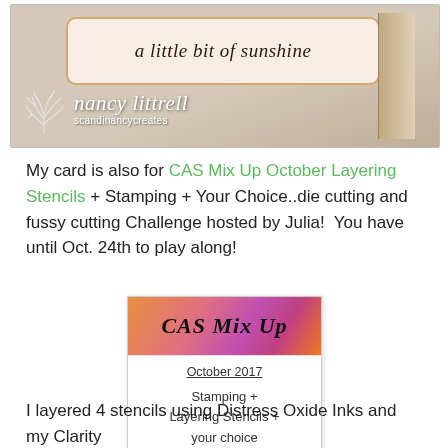[Figure (photo): A handmade greeting card with cursive text 'a little bit of sunshine' on a decorative label, shown propped up. Overlay includes 'nancy littrell scandinancycreates' logo with a tree illustration.]
My card is also for CAS Mix Up October Layering Stencils + Stamping + Your Choice..die cutting and fussy cutting Challenge hosted by Julia!  You have until Oct. 24th to play along!
[Figure (photo): CAS Mix Up badge/logo image. Top half has colorful splattered paint background with 'CAS Mix Up' in handwritten font. Bottom half on white reads: October 2017 (underlined), Stamping + Layering Stencils + your choice.]
I layered 4 stencils using Distress Oxide Inks and my Clarity